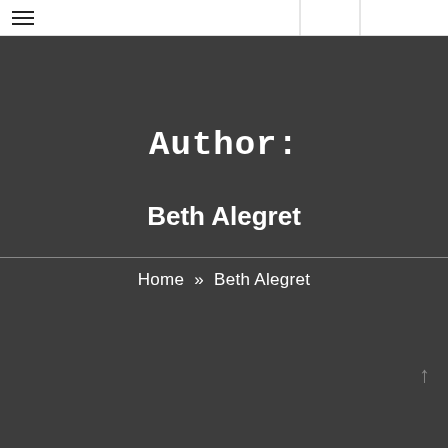≡  [navigation bar with hamburger menu]
Author:
Beth Alegret
Home » Beth Alegret